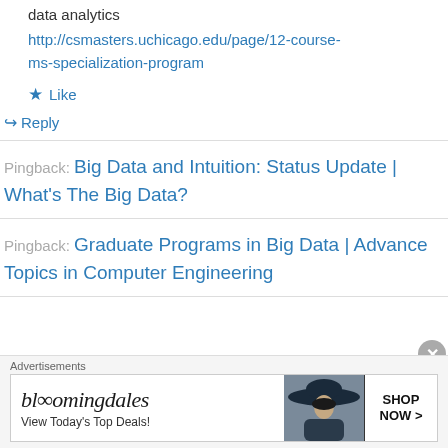data analytics
http://csmasters.uchicago.edu/page/12-course-ms-specialization-program
★ Like
↪ Reply
Pingback: Big Data and Intuition: Status Update | What's The Big Data?
Pingback: Graduate Programs in Big Data | Advance Topics in Computer Engineering
Advertisements
[Figure (other): Bloomingdale's advertisement banner with hat image and 'SHOP NOW >' button. Text: 'bloomingdales' and 'View Today's Top Deals!']